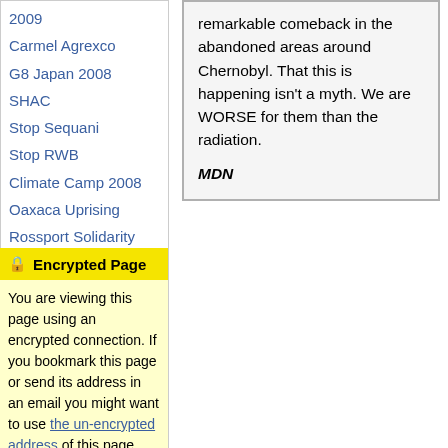2009
Carmel Agrexco
G8 Japan 2008
SHAC
Stop Sequani
Stop RWB
Climate Camp 2008
Oaxaca Uprising
Rossport Solidarity
Smash EDO
SOCPA
Past Major Reports
remarkable comeback in the abandoned areas around Chernobyl. That this is happening isn't a myth. We are WORSE for them than the radiation.

MDN
🔒 Encrypted Page
You are viewing this page using an encrypted connection. If you bookmark this page or send its address in an email you might want to use the un-encrypted address of this page.
If you recieved a warning